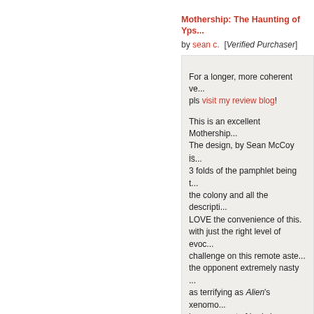Mothership: The Haunting of Yps...
by sean c. [Verified Purchaser]
For a longer, more coherent ve... pls visit my review blog!

This is an excellent Mothership... The design, by Sean McCoy is... 3 folds of the pamphlet being t... the colony and all the descripti... LOVE the convenience of this... with just the right level of evoc... challenge on this remote aste... the opponent extremely nasty ... as terrifying as Alien's xenomo... large amount of body horror th... beatable, though missteps or b... TPK.
Rating: ★★★★★ [5 of 5 S...
Mothership: Gradient Descent
by Matteo S. [Verified Purchaser]